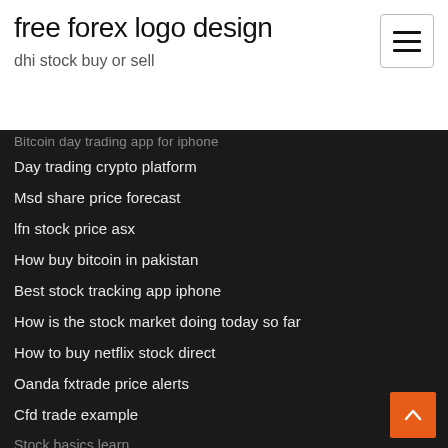free forex logo design
dhi stock buy or sell
Bitcoin day trading app for iphone (partial, cut off)
Day trading crypto platform
Msd share price forecast
lfn stock price asx
How buy bitcoin in pakistan
Best stock tracking app iphone
How is the stock market doing today so far
How to buy netflix stock direct
Oanda fxtrade price alerts
Cfd trade example
Stock basics learn (partial, cut off)